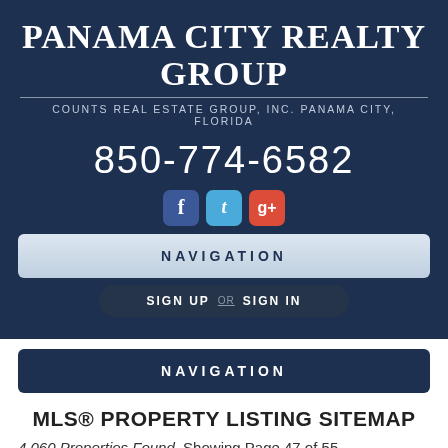PANAMA CITY REALTY GROUP
COUNTS REAL ESTATE GROUP, INC. PANAMA CITY, FLORIDA
850-774-6582
[Figure (other): Social media icons: Facebook (blue), Twitter (light blue), Google+ (red)]
NAVIGATION
SIGN UP OR SIGN IN
NAVIGATION
MLS® PROPERTY LISTING SITEMAP
4,060 Properties Found. Showing Page 47 of 55
PANAMA CITY BEACH